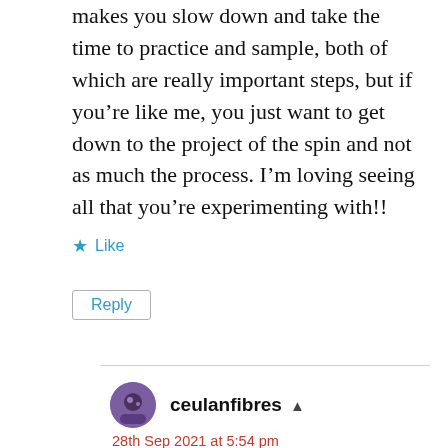makes you slow down and take the time to practice and sample, both of which are really important steps, but if you’re like me, you just want to get down to the project of the spin and not as much the process. I’m loving seeing all that you’re experimenting with!!
★ Like
Reply
ceulanfibres
28th Sep 2021 at 5:54 pm
There is something about a class I think. I’ve read some of this before in books like Jill